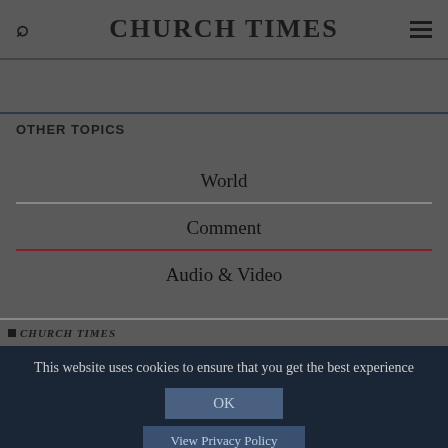CHURCH TIMES
OTHER TOPICS
World
Comment
Audio & Video
CHURCH TIMES
This website uses cookies to ensure that you get the best experience
OK
View Privacy Policy